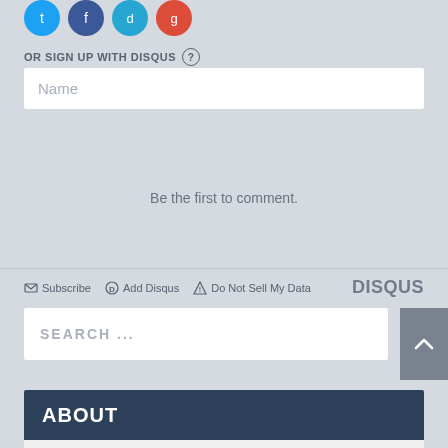[Figure (infographic): Social media sign-in icons: Twitter (blue), Facebook (dark blue), another social icon (light blue), Google (red) as circles]
OR SIGN UP WITH DISQUS (?)
Name
Be the first to comment.
Subscribe  Add Disqus  Do Not Sell My Data  DISQUS
SEARCH ...
ABOUT